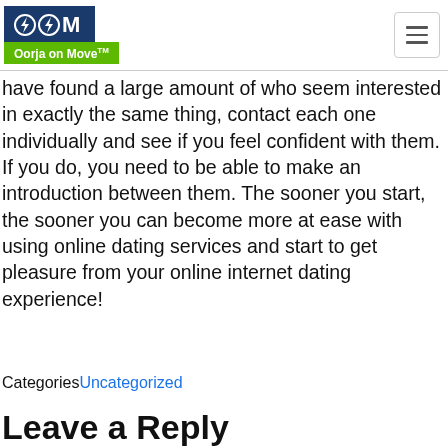Oorja on Move™ [logo with hamburger menu]
have found a large amount of who seem interested in exactly the same thing, contact each one individually and see if you feel confident with them. If you do, you need to be able to make an introduction between them. The sooner you start, the sooner you can become more at ease with using online dating services and start to get pleasure from your online internet dating experience!
CategoriesUncategorized
Leave a Reply